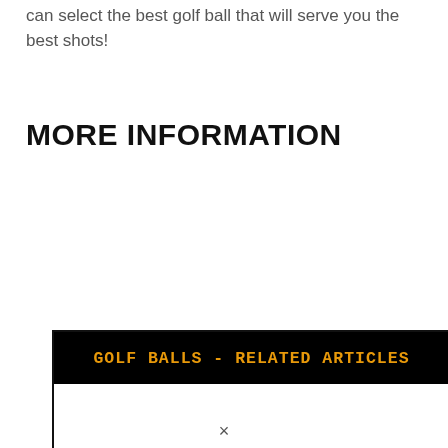can select the best golf ball that will serve you the best shots!
MORE INFORMATION
[Figure (screenshot): A box with black header 'GOLF BALLS - RELATED ARTICLES' in orange monospace text, with a white body area below. An orange scroll-to-top button with double chevron up arrow appears on the right side.]
×